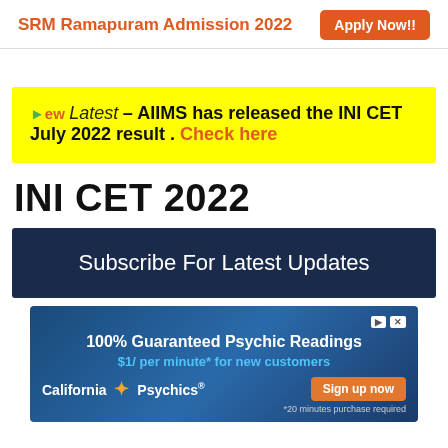SRM Ramapuram Admission 2022 Apply Now!!
New Latest – AIIMS has released the INI CET July 2022 result. Check here
INI CET 2022
Subscribe For Latest Updates
[Figure (other): Advertisement banner for California Psychics: 100% Guaranteed Psychic Readings, $1/ per minute* for new customers, Sign up now, *20 minutes purchase required]